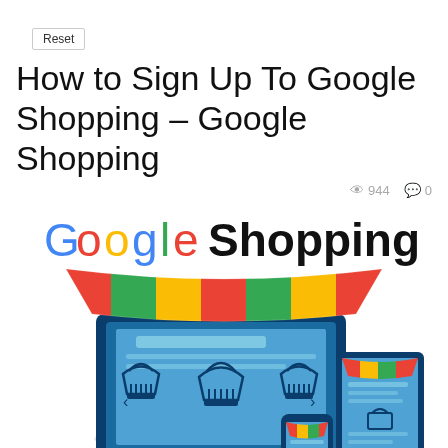Reset
How to Sign Up To Google Shopping – Google Shopping
👁 944  💬 0
[Figure (illustration): Google Shopping illustration featuring the Google Shopping logo (Google in multicolor, Shopping in bold black) above a colorful striped market awning over a laptop displaying shopping baskets, with a tablet and phone also showing shopping interfaces.]